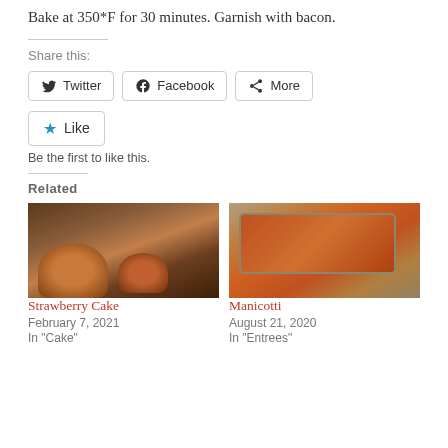Bake at 350*F for 30 minutes. Garnish with bacon.
Share this:
Twitter  Facebook  More
Like  Be the first to like this.
Related
[Figure (photo): Strawberry Cake - two round cakes on white plates on dark surface]
Strawberry Cake
February 7, 2021
In "Cake"
[Figure (photo): Manicotti - pasta dish in glass baking dish on countertop]
Manicotti
August 21, 2020
In "Entrees"